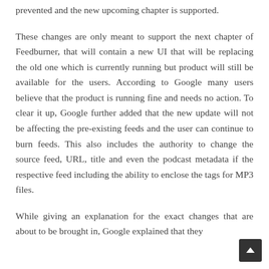prevented and the new upcoming chapter is supported.
These changes are only meant to support the next chapter of Feedburner, that will contain a new UI that will be replacing the old one which is currently running but product will still be available for the users. According to Google many users believe that the product is running fine and needs no action. To clear it up, Google further added that the new update will not be affecting the pre-existing feeds and the user can continue to burn feeds. This also includes the authority to change the source feed, URL, title and even the podcast metadata if the respective feed including the ability to enclose the tags for MP3 files.
While giving an explanation for the exact changes that are about to be brought in, Google explained that they